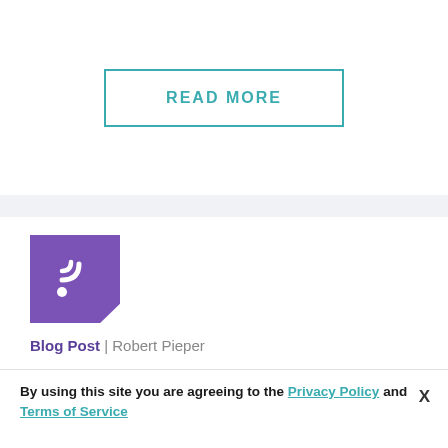[Figure (other): READ MORE button with teal border]
[Figure (logo): Purple blog post icon with RSS/wifi symbol]
Blog Post | Robert Pieper
Purpose - Can You Work Without It?
By using this site you are agreeing to the Privacy Policy and Terms of Service